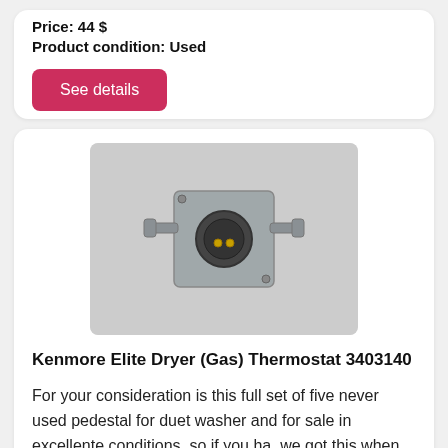Price: 44 $
Product condition: Used
See details
[Figure (photo): A Kenmore Elite Dryer Gas Thermostat part 3403140, shown from above on a gray background. The component is a small metal square piece with a circular plug and bracket.]
Kenmore Elite Dryer (Gas) Thermostat 3403140
For your consideration is this full set of five never used pedestal for duet washer and for sale in excellente conditions, so if you ha. we got this when had our own appliance delivery company. Kenmore elite
Avoca